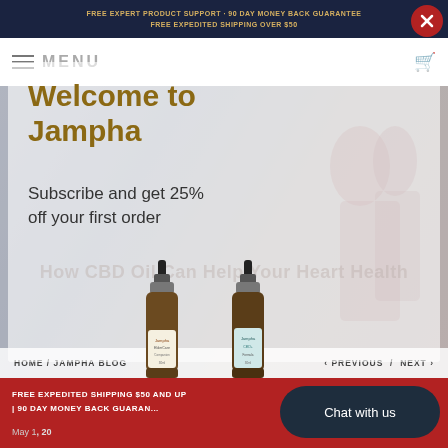FREE EXPERT PRODUCT SUPPORT · 90 DAY MONEY BACK GUARANTEE · FREE EXPEDITED SHIPPING OVER $50
Welcome to Jampha
Subscribe and get 25% off your first order
[Figure (photo): Two amber dropper bottles of Jampha CBD oil products with labels]
How CBD Oil Can Help Your Heart Health
HOME / JAMPHA BLOG
PREVIOUS / NEXT
FREE EXPEDITED SHIPPING $50 AND UP | 90 DAY MONEY BACK GUARANTEE
Chat with us